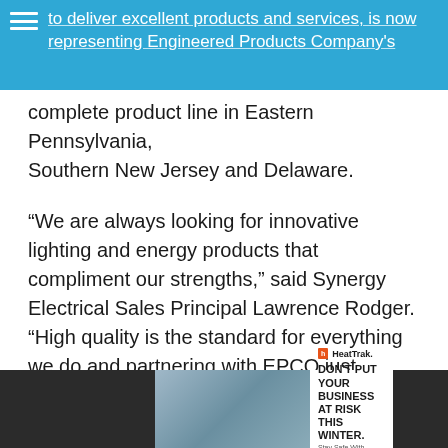to deliver excellent products and services, is now representing Engineered Products Company's
complete product line in Eastern Pennsylvania, Southern New Jersey and Delaware.
“We are always looking for innovative lighting and energy products that compliment our strengths,” said Synergy Electrical Sales Principal Lawrence Rodger. “High quality is the standard for everything we do and partnering with EPCO just makes sense.”
Engineered Products Company has a 40+-year
[Figure (infographic): HeatTrak advertisement banner: 'DON'T PUT YOUR BUSINESS AT RISK THIS WINTER. Stay Safe With HeatTrak Snow & Ice Melting Mats' with logo and winter scene image]